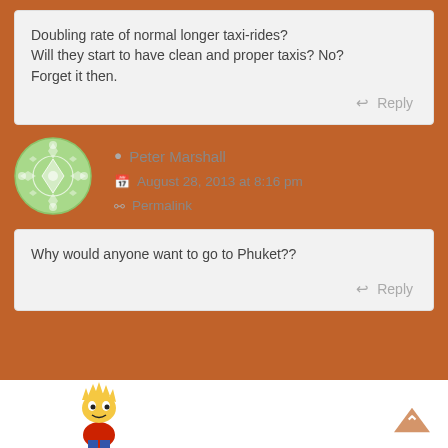Doubling rate of normal longer taxi-rides?
Will they start to have clean and proper taxis? No?
Forget it then.
Reply
[Figure (illustration): Green circular avatar with decorative pattern (geometric diamonds and circles)]
Peter Marshall
August 28, 2013 at 8:16 pm
Permalink
Why would anyone want to go to Phuket??
Reply
[Figure (illustration): Bart Simpson cartoon character illustration at bottom left]
[Figure (illustration): Orange/tan upward chevron arrow at bottom right for back-to-top navigation]